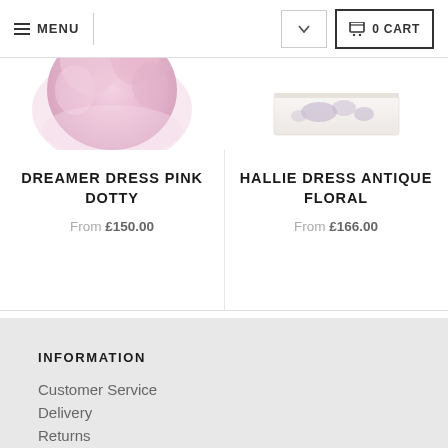MENU | 0 CART
[Figure (photo): Partial view of Dreamer Dress Pink Dotty product thumbnail showing pink floral fabric]
DREAMER DRESS PINK DOTTY
From £150.00
[Figure (photo): Partial view of Hallie Dress Antique Floral product thumbnail showing white fabric with floral print]
HALLIE DRESS ANTIQUE FLORAL
From £166.00
INFORMATION
Customer Service
Delivery
Returns
Wholesale